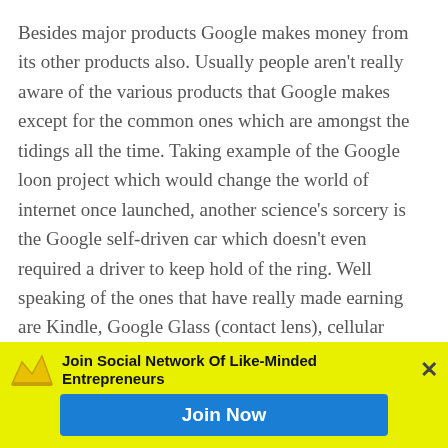Besides major products Google makes money from its other products also. Usually people aren't really aware of the various products that Google makes except for the common ones which are amongst the tidings all the time. Taking example of the Google loon project which would change the world of internet once launched, another science's sorcery is the Google self-driven car which doesn't even required a driver to keep hold of the ring. Well speaking of the ones that have really made earning are Kindle, Google Glass (contact lens), cellular phones, Google OnHub and so on which are used widely by most people. Speaking of the major products, introducing android was one amongst.
Join Social Network Of Like-Minded Entrepreneurs
Join Now